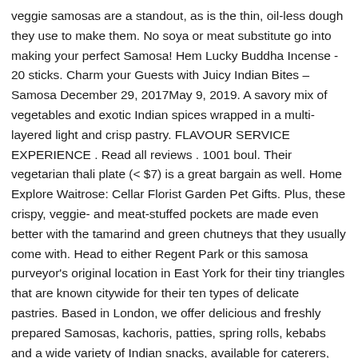veggie samosas are a standout, as is the thin, oil-less dough they use to make them. No soya or meat substitute go into making your perfect Samosa! Hem Lucky Buddha Incense - 20 sticks. Charm your Guests with Juicy Indian Bites – Samosa December 29, 2017May 9, 2019. A savory mix of vegetables and exotic Indian spices wrapped in a multi-layered light and crisp pastry. FLAVOUR SERVICE EXPERIENCE . Read all reviews . 1001 boul. Their vegetarian thali plate (< $7) is a great bargain as well. Home Explore Waitrose: Cellar Florist Garden Pet Gifts. Plus, these crispy, veggie- and meat-stuffed pockets are made even better with the tamarind and green chutneys that they usually come with. Head to either Regent Park or this samosa purveyor's original location in East York for their tiny triangles that are known citywide for their ten types of delicate pastries. Based in London, we offer delicious and freshly prepared Samosas, kachoris, patties, spring rolls, kebabs and a wide variety of Indian snacks, available for caterers, restaurants, cafes, hotels, canteens, offices, … Frozen Snacks - Samosas; Frozen Vegetables; Frozen Wraps - Kathi Rolls; Reviews. Printable version. Order online, and get Samosa